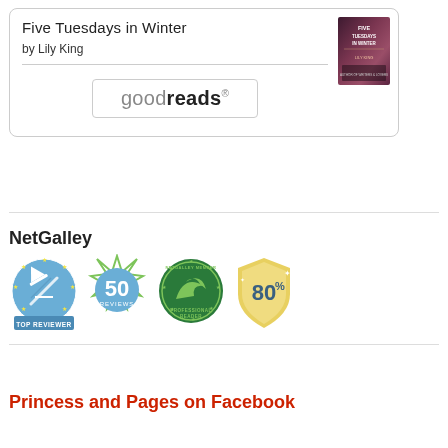Five Tuesdays in Winter
by Lily King
[Figure (logo): goodreads button/logo in a rounded rectangle]
[Figure (infographic): Four NetGalley badges: Top Reviewer (blue circle with stars and pen icon), 50 Reviews (green star-outlined badge), NetGalley Member Professional Reader (green circle badge), and 80% (yellow shield badge)]
NetGalley
Princess and Pages on Facebook